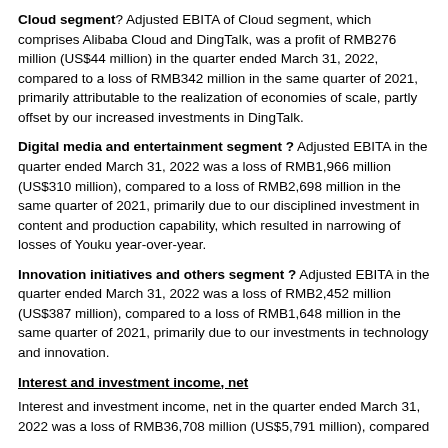Cloud segment? Adjusted EBITA of Cloud segment, which comprises Alibaba Cloud and DingTalk, was a profit of RMB276 million (US$44 million) in the quarter ended March 31, 2022, compared to a loss of RMB342 million in the same quarter of 2021, primarily attributable to the realization of economies of scale, partly offset by our increased investments in DingTalk.
Digital media and entertainment segment? Adjusted EBITA in the quarter ended March 31, 2022 was a loss of RMB1,966 million (US$310 million), compared to a loss of RMB2,698 million in the same quarter of 2021, primarily due to our disciplined investment in content and production capability, which resulted in narrowing of losses of Youku year-over-year.
Innovation initiatives and others segment? Adjusted EBITA in the quarter ended March 31, 2022 was a loss of RMB2,452 million (US$387 million), compared to a loss of RMB1,648 million in the same quarter of 2021, primarily due to our investments in technology and innovation.
Interest and investment income, net
Interest and investment income, net in the quarter ended March 31, 2022 was a loss of RMB36,708 million (US$5,791 million), compared